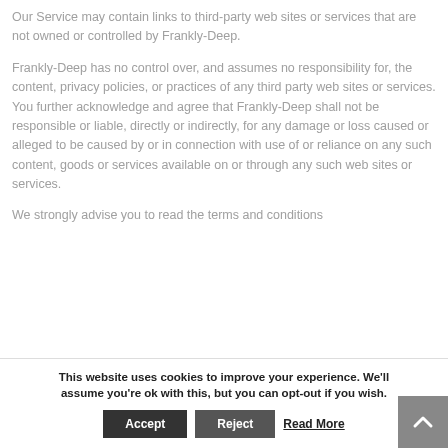Our Service may contain links to third-party web sites or services that are not owned or controlled by Frankly-Deep.
Frankly-Deep has no control over, and assumes no responsibility for, the content, privacy policies, or practices of any third party web sites or services. You further acknowledge and agree that Frankly-Deep shall not be responsible or liable, directly or indirectly, for any damage or loss caused or alleged to be caused by or in connection with use of or reliance on any such content, goods or services available on or through any such web sites or services.
We strongly advise you to read the terms and conditions
This website uses cookies to improve your experience. We'll assume you're ok with this, but you can opt-out if you wish.